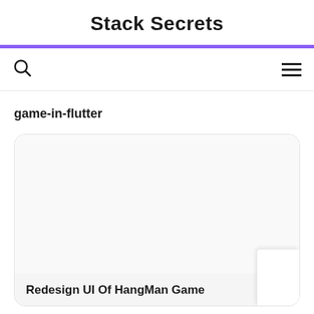Stack Secrets
[Figure (other): Navigation bar with search icon on left and hamburger menu icon on right]
game-in-flutter
[Figure (other): Card with white rounded rectangle image area and light gray bottom section containing article title]
Redesign UI Of HangMan Game